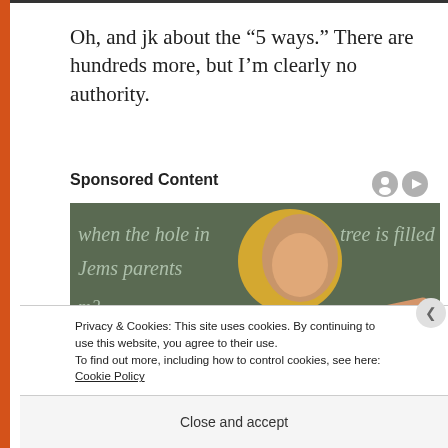Oh, and jk about the “5 ways.” There are hundreds more, but I’m clearly no authority.
Sponsored Content
[Figure (photo): Woman with blonde hair in red outfit pointing at a chalkboard with partial text visible: 'when the hole in tree is filled Jems parents m? lie?']
Privacy & Cookies: This site uses cookies. By continuing to use this website, you agree to their use.
To find out more, including how to control cookies, see here: Cookie Policy
Close and accept